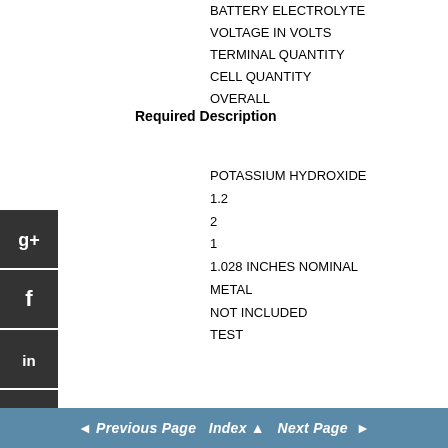BATTERY ELECTROLYTE
VOLTAGE IN VOLTS
TERMINAL QUANTITY
CELL QUANTITY
OVERALL
Required Description
POTASSIUM HYDROXIDE
1.2
2
1
1.028 INCHES NOMINAL
METAL
NOT INCLUDED
TEST
◄  Previous Page   Index ▲   Next Page  ►